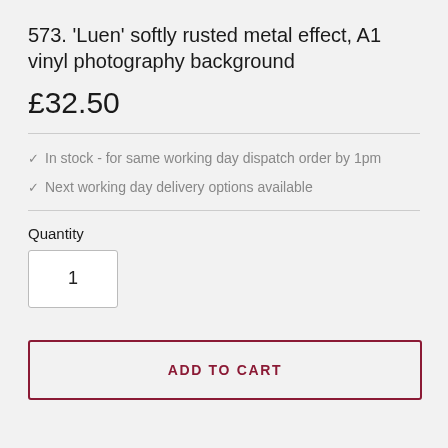573. 'Luen' softly rusted metal effect, A1 vinyl photography background
£32.50
In stock - for same working day dispatch order by 1pm
Next working day delivery options available
Quantity
1
ADD TO CART